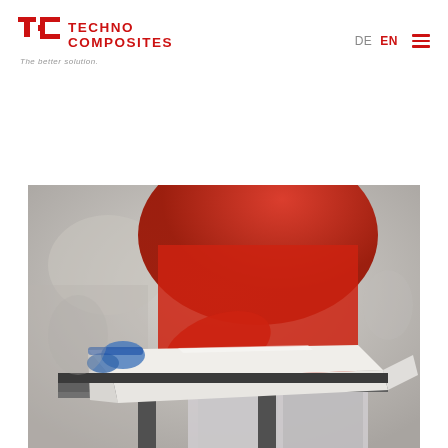[Figure (logo): Techno Composites logo with TC icon in red, brand name in red uppercase, and tagline 'The better solution.' in grey italic]
DE  EN  ☰
[Figure (photo): Worker in red long-sleeve shirt and work trousers applying or working on a white composite panel on a metal workbench in a workshop setting. Blue gloves visible. Focus on white panel edge.]